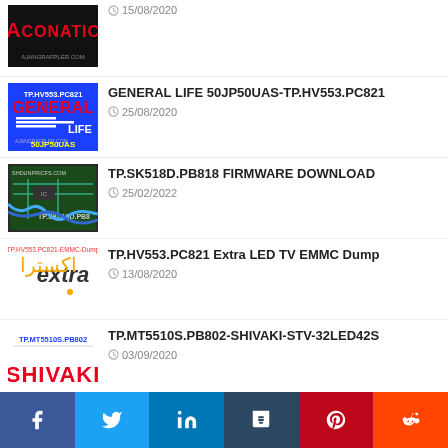15/08/2020
GENERAL LIFE 50JP50UAS-TP.HV553.PC821 — 25/08/2020
TP.SK518D.PB818 FIRMWARE DOWNLOAD — 25/02/2022
TP.HV553.PC821 Extra LED TV EMMC Dump — 13/08/2020
TP.MT5510S.PB802-SHIVAKI-STV-32LED42S — 03/09/2020
Facebook Twitter LinkedIn Tumblr Pinterest Reddit